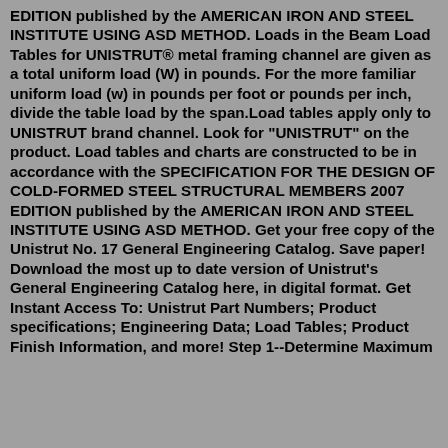EDITION published by the AMERICAN IRON AND STEEL INSTITUTE USING ASD METHOD. Loads in the Beam Load Tables for UNISTRUT® metal framing channel are given as a total uniform load (W) in pounds. For the more familiar uniform load (w) in pounds per foot or pounds per inch, divide the table load by the span.Load tables apply only to UNISTRUT brand channel. Look for "UNISTRUT" on the product. Load tables and charts are constructed to be in accordance with the SPECIFICATION FOR THE DESIGN OF COLD-FORMED STEEL STRUCTURAL MEMBERS 2007 EDITION published by the AMERICAN IRON AND STEEL INSTITUTE USING ASD METHOD. Get your free copy of the Unistrut No. 17 General Engineering Catalog. Save paper! Download the most up to date version of Unistrut's General Engineering Catalog here, in digital format. Get Instant Access To: Unistrut Part Numbers; Product specifications; Engineering Data; Load Tables; Product Finish Information, and more! Step 1--Determine Maximum